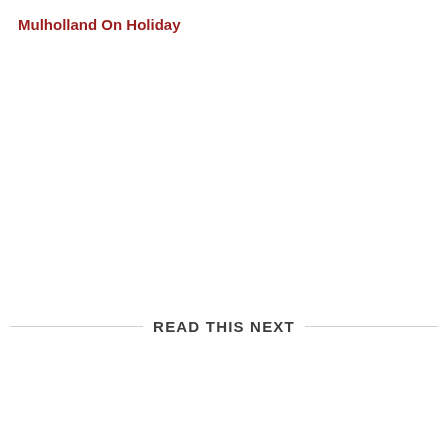Mulholland On Holiday
READ THIS NEXT